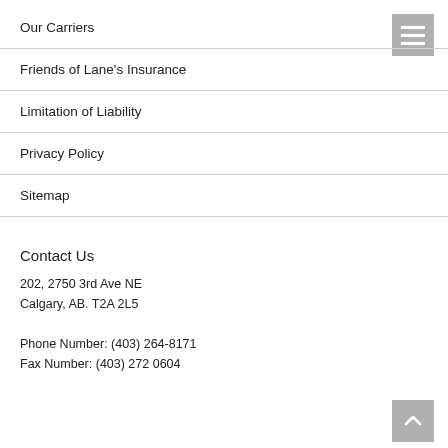Our Carriers
Friends of Lane's Insurance
Limitation of Liability
Privacy Policy
Sitemap
Contact Us
202, 2750 3rd Ave NE
Calgary, AB. T2A 2L5
Phone Number: (403) 264-8171
Fax Number: (403) 272 0604